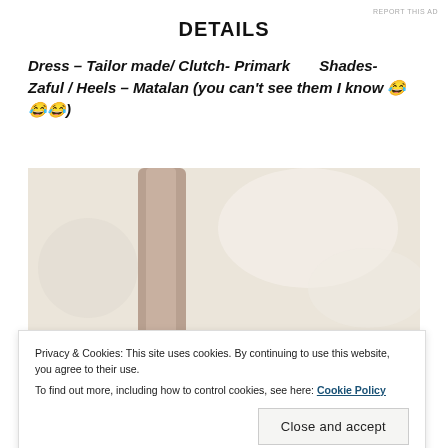REPORT THIS AD
DETAILS
Dress – Tailor made/ Clutch- Primark      Shades- Zaful / Heels – Matalan (you can't see them I know 😂😂😂)
[Figure (photo): Blurred outdoor photo showing a tree trunk with light background, top portion of blog image]
[Figure (photo): Bottom portion of an image showing faces, partially visible]
Privacy & Cookies: This site uses cookies. By continuing to use this website, you agree to their use.
To find out more, including how to control cookies, see here: Cookie Policy
Close and accept